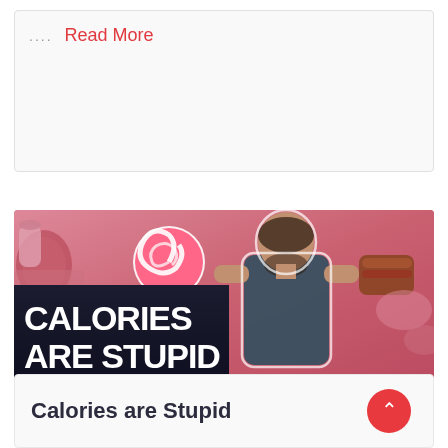.... Read More
[Figure (photo): Thumbnail image for a video or article titled 'Calories are Stupid'. Shows a man in a dark t-shirt holding a lollipop in one hand and a grilled burger patty in the other, against a pink food-themed background. Large bold white text on dark banner reads 'CALORIES ARE STUPID'.]
Calories are Stupid